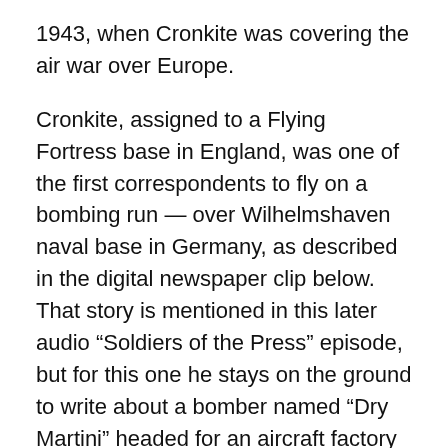1943, when Cronkite was covering the air war over Europe.
Cronkite, assigned to a Flying Fortress base in England, was one of the first correspondents to fly on a bombing run — over Wilhelmshaven naval base in Germany, as described in the digital newspaper clip below. That story is mentioned in this later audio “Soldiers of the Press” episode, but for this one he stays on the ground to write about a bomber named “Dry Martini” headed for an aircraft factory in France — by profiling a single crewman, one of the “real American lads who have a grim and dangerous jobs to do and do it.”
(I’ve searched online archives for both a “Soldiers of the Press” episode on the Wilhelmshaven raid or a news clipping of the “Dry Martini” story, but I haven’t come up